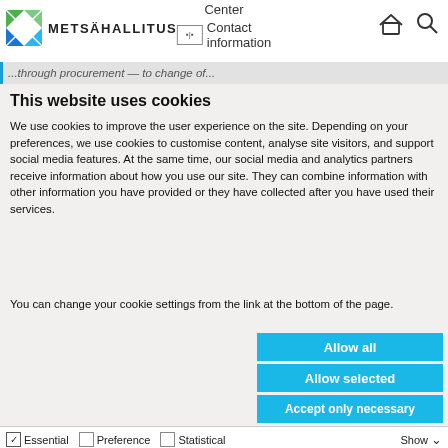Center
[Figure (logo): Metsähallitus logo with green and blue triangular icon and bold text METSÄHALLITUS]
Contact information
...through procurement — to change of...
This website uses cookies
We use cookies to improve the user experience on the site. Depending on your preferences, we use cookies to customise content, analyse site visitors, and support social media features. At the same time, our social media and analytics partners receive information about how you use our site. They can combine information with other information you have provided or they have collected after you have used their services.
You can change your cookie settings from the link at the bottom of the page.
Allow all
Allow selected
Accept only necessary
Essential  Preference  Statistical  Marketing  Show details